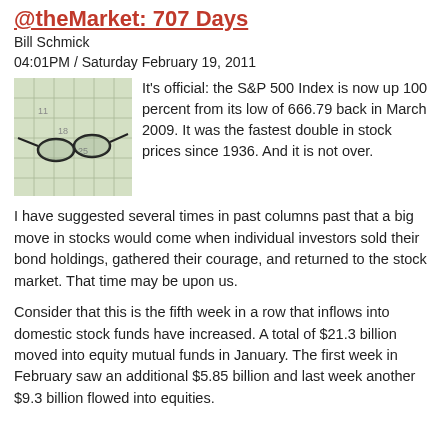@theMarket: 707 Days
Bill Schmick
04:01PM / Saturday February 19, 2011
[Figure (photo): Photo of glasses resting on a calendar/planner]
It's official: the S&P 500 Index is now up 100 percent from its low of 666.79 back in March 2009. It was the fastest double in stock prices since 1936. And it is not over.
I have suggested several times in past columns past that a big move in stocks would come when individual investors sold their bond holdings, gathered their courage, and returned to the stock market. That time may be upon us.
Consider that this is the fifth week in a row that inflows into domestic stock funds have increased. A total of $21.3 billion moved into equity mutual funds in January. The first week in February saw an additional $5.85 billion and last week another $9.3 billion flowed into equities.